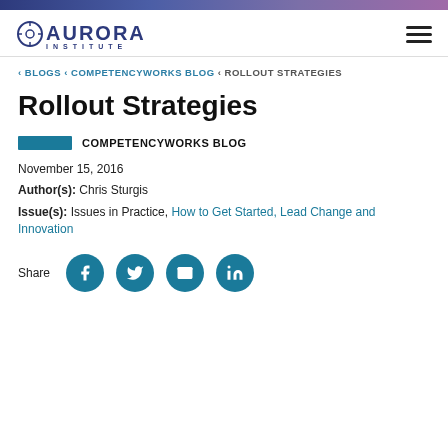Aurora Institute
< BLOGS < COMPETENCYWORKS BLOG < ROLLOUT STRATEGIES
Rollout Strategies
COMPETENCYWORKS BLOG
November 15, 2016
Author(s): Chris Sturgis
Issue(s): Issues in Practice, How to Get Started, Lead Change and Innovation
Share